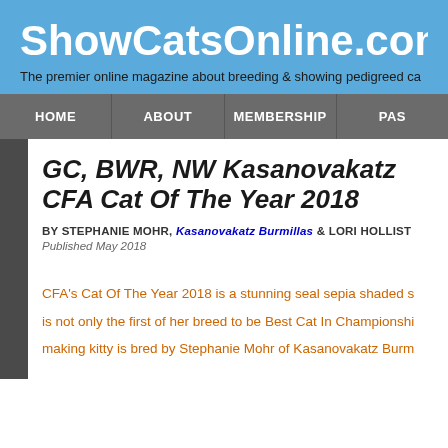ShowCatsOnline.com
The premier online magazine about breeding & showing pedigreed ca
HOME | ABOUT | MEMBERSHIP | PAS
GC, BWR, NW Kasanovakatz CFA Cat Of The Year 2018
BY STEPHANIE MOHR, Kasanovakatz Burmillas & LORI HOLLIST
Published May 2018
CFA's Cat Of The Year 2018 is a stunning seal sepia shaded s
is not only the first of her breed to be Best Cat In Championshi
making kitty is bred by Stephanie Mohr of Kasanovakatz Burm